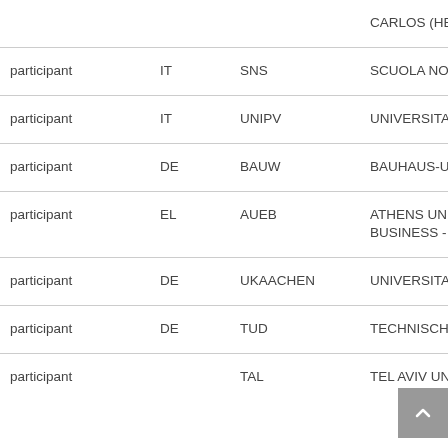| Role | Country | Short Name | Full Name |
| --- | --- | --- | --- |
|  |  |  | CARLOS (HES) |
| participant | IT | SNS | SCUOLA NORMALE SUPERIORE (HES) |
| participant | IT | UNIPV | UNIVERSITA DEGLI STUDI DI PAVIA (HES) |
| participant | DE | BAUW | BAUHAUS-UNIVERSITAET WEIMAR (HES) |
| participant | EL | AUEB | ATHENS UNIVERSITY OF ECONOMICS AND BUSINESS - RESEARCH CENTER |
| participant | DE | UKAACHEN | UNIVERSITAETSKLINIKUM AACHEN (HES) |
| participant | DE | TUD | TECHNISCHE UNIVERSITAET DRESDEN (HES) |
| participant |  | TAL | TEL AVIV UNIVERSITY... |